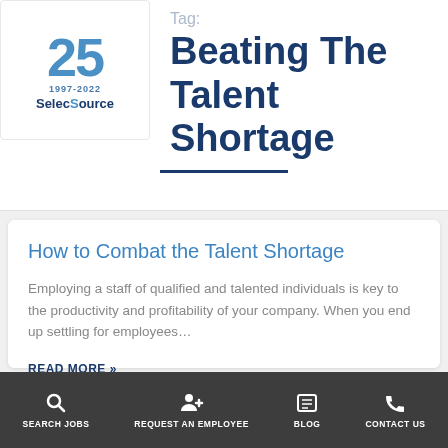[Figure (logo): SelecSource 25th anniversary logo with '25' in blue, '1997-2022' and 'SelecSource' text]
Tag: Beating The Talent Shortage
How to Combat the Talent Shortage
Employing a staff of qualified and talented individuals is key to the productivity and profitability of your company. When you end up settling for employees...
READ MORE »
SEARCH JOBS | REQUEST AN EMPLOYEE | BLOG | CONTACT US